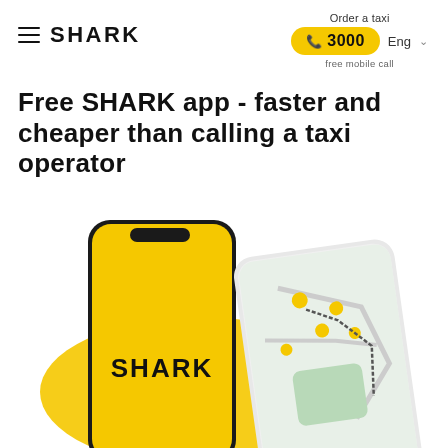SHARK | Order a taxi | 3000 | free mobile call | Eng
Free SHARK app - faster and cheaper than calling a taxi operator
[Figure (illustration): Two smartphones: one with a black frame showing a yellow screen with SHARK logo, and one white smartphone showing a map with taxi markers and a route]